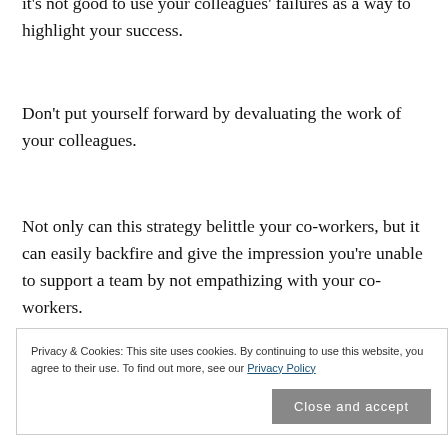it's not good to use your colleagues' failures as a way to highlight your success.
Don't put yourself forward by devaluating the work of your colleagues.
Not only can this strategy belittle your co-workers, but it can easily backfire and give the impression you're unable to support a team by not empathizing with your co-workers.
Privacy & Cookies: This site uses cookies. By continuing to use this website, you agree to their use. To find out more, see our Privacy Policy
Close and accept